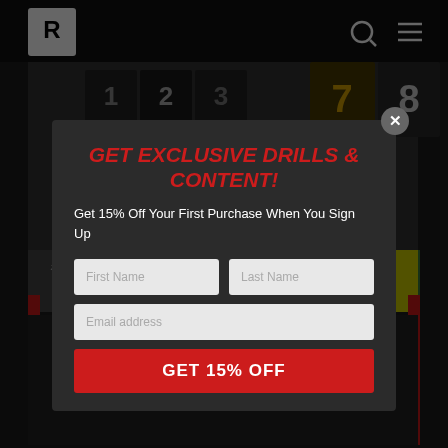[Figure (screenshot): Baseball Rebellion website header with logo and navigation icons on dark background, with number graphics in the background]
GET EXCLUSIVE DRILLS & CONTENT!
Get 15% Off Your First Purchase When You Sign Up
First Name
Last Name
Email address
GET 15% OFF